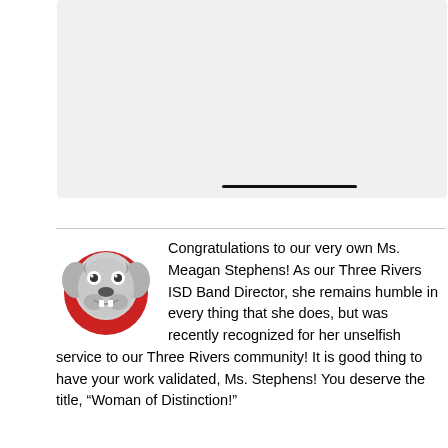[Figure (photo): Light gray placeholder image box representing a photo, with a short horizontal black line near the bottom center]
Congratulations to our very own Ms. Meagan Stephens! As our Three Rivers ISD Band Director, she remains humble in every thing that she does, but was recently recognized for her unselfish service to our Three Rivers community! It is good thing to have your work validated, Ms. Stephens! You deserve the title, “Woman of Distinction!”